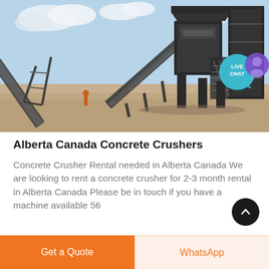[Figure (photo): Industrial concrete crusher / stone crushing plant at a quarry site in Alberta Canada. Shows large conveyor belts, crusher machinery, steel structures, and sandy ground under a partly cloudy sky.]
Alberta Canada Concrete Crushers
Concrete Crusher Rental needed in Alberta Canada We are looking to rent a concrete crusher for 2-3 month rental in Alberta Canada Please be in touch if you have a machine available 56
Get a Quote
WhatsApp